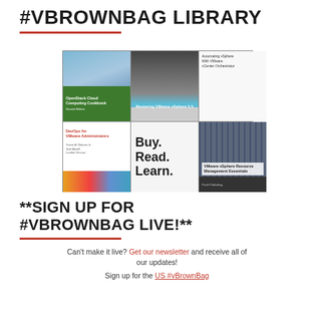#VBROWNBAG LIBRARY
[Figure (photo): Collage of book covers including OpenStack Cloud Computing Cookbook Second Edition, Mastering VMware vSphere 5.5, Automating vSphere With VMware vCenter Orchestrator, DevOps for VMware Administrators, a panel with text 'Buy. Read. Learn.', and VMware vSphere Resource Management Essentials]
**SIGN UP FOR #VBROWNBAG LIVE!**
Can't make it live? Get our newsletter and receive all of our updates!
Sign up for the US #vBrownBag